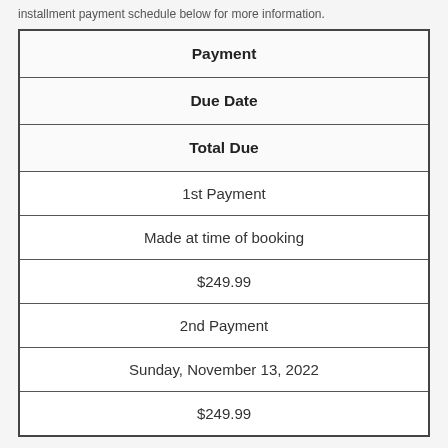installment payment schedule below for more information.
| Payment | Due Date | Total Due |
| --- | --- | --- |
| 1st Payment | Made at time of booking | $249.99 |
| 2nd Payment | Sunday, November 13, 2022 | $249.99 |